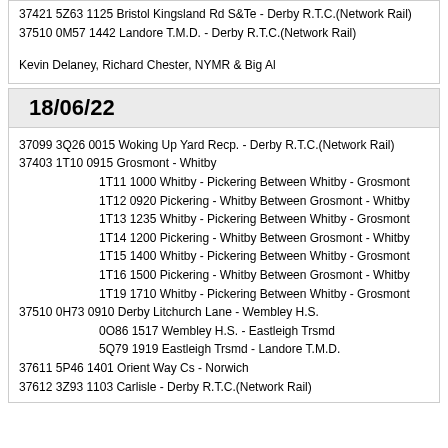37421 5Z63 1125 Bristol Kingsland Rd S&Te - Derby R.T.C.(Network Rail)
37510 0M57 1442 Landore T.M.D. - Derby R.T.C.(Network Rail)
Kevin Delaney, Richard Chester, NYMR & Big Al
18/06/22
37099 3Q26 0015 Woking Up Yard Recp. - Derby R.T.C.(Network Rail)
37403 1T10 0915 Grosmont - Whitby
1T11 1000 Whitby - Pickering Between Whitby - Grosmont
1T12 0920 Pickering - Whitby Between Grosmont - Whitby
1T13 1235 Whitby - Pickering Between Whitby - Grosmont
1T14 1200 Pickering - Whitby Between Grosmont - Whitby
1T15 1400 Whitby - Pickering Between Whitby - Grosmont
1T16 1500 Pickering - Whitby Between Grosmont - Whitby
1T19 1710 Whitby - Pickering Between Whitby - Grosmont
37510 0H73 0910 Derby Litchurch Lane - Wembley H.S.
0O86 1517 Wembley H.S. - Eastleigh Trsmd
5Q79 1919 Eastleigh Trsmd - Landore T.M.D.
37611 5P46 1401 Orient Way Cs - Norwich
37612 3Z93 1103 Carlisle - Derby R.T.C.(Network Rail)